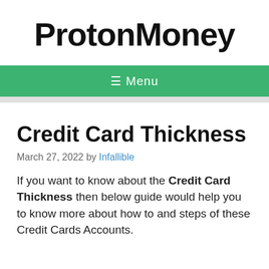ProtonMoney
☰ Menu
Credit Card Thickness
March 27, 2022 by Infallible
If you want to know about the Credit Card Thickness then below guide would help you to know more about how to and steps of these Credit Cards Accounts.